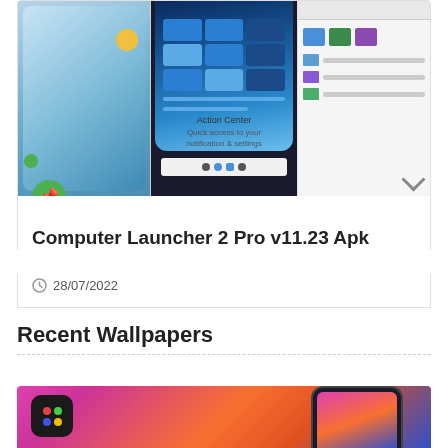[Figure (screenshot): Screenshot of Computer Launcher 2 Pro app showing three phone screens with Windows 11 style UI: Action Center, taskbar, file manager views]
Computer Launcher 2 Pro v11.23 Apk
28/07/2022
Recent Wallpapers
[Figure (screenshot): Colorful gradient wallpaper with a phone displaying a rainbow gradient background and a dark app icon with colored dots]